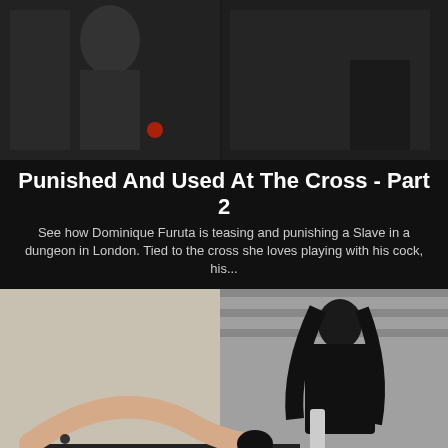[Figure (photo): A dominatrix in dark leather outfit in a dungeon setting]
Punished And Used At The Cross - Part 2
See how Dominique Furuta is teasing and punishing a Slave in a dungeon in London. Tied to the cross she loves playing with his cock, his...
[Figure (photo): Mistress Adina in fishnet top and leather skirt standing over a slave on a table]
Mistress Adina Loves BDSM
No coment !!!! Mistress Adina want her Slave in pain and she know how to play